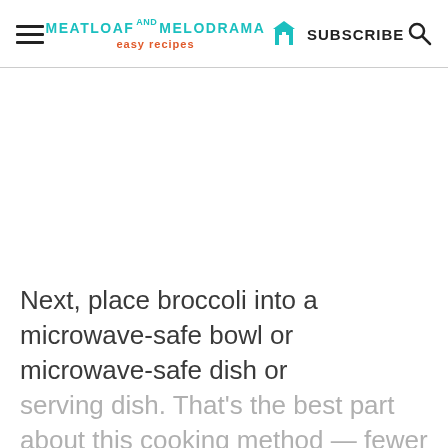MEATLOAF AND MELODRAMA easy recipes | SUBSCRIBE
Next, place broccoli into a microwave-safe bowl or microwave-safe dish or serving dish. That's the best part about this cooking method — fewer